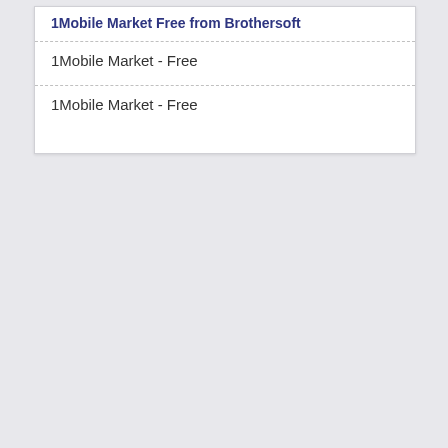1Mobile Market Free from Brothersoft
1Mobile Market - Free
1Mobile Market - Free